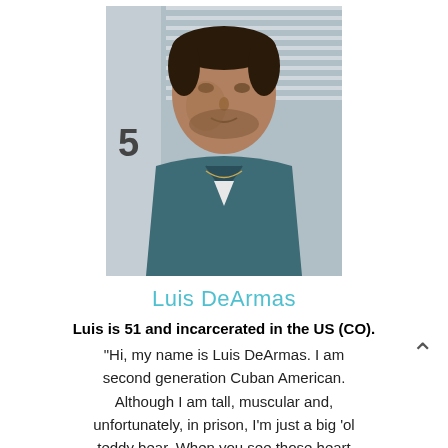[Figure (photo): Mugshot of Luis DeArmas, a man in a dark teal/blue shirt, photographed against a striped background with a height marker showing '5' visible to the left.]
Luis DeArmas
Luis is 51 and incarcerated in the US (CO). "Hi, my name is Luis DeArmas. I am second generation Cuban American. Although I am tall, muscular and, unfortunately, in prison, I'm just a big 'ol teddy bear. When you see those heart wrenching commercials, for the ASPCA, where the sad puppy dog looks at you